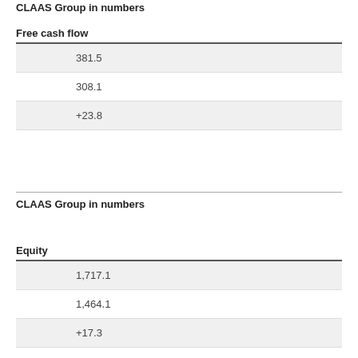CLAAS Group in numbers
Free cash flow
| 381.5 |
| 308.1 |
| +23.8 |
CLAAS Group in numbers
Equity
| 1,717.1 |
| 1,464.1 |
| +17.3 |